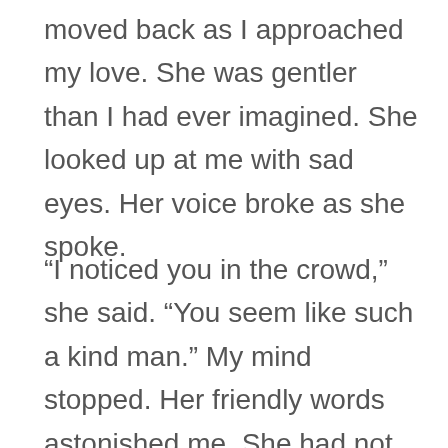moved back as I approached my love. She was gentler than I had ever imagined. She looked up at me with sad eyes. Her voice broke as she spoke.
“I noticed you in the crowd,” she said. “You seem like such a kind man.” My mind stopped. Her friendly words astonished me. She had not even seemed appalled by my sickly frame. She continued to speak.  “Come closer. Let me see you in the light. You seem so tired and scared. Let me touch your lonely soul.”
She touched my brow lightly and slowly moved